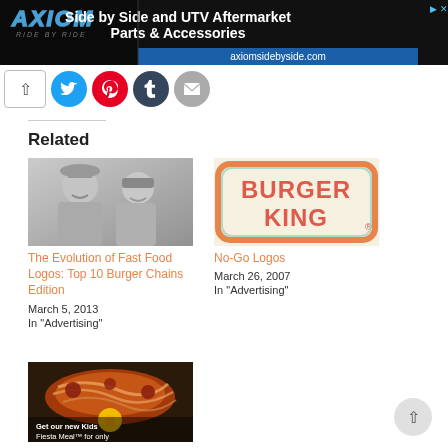[Figure (other): AXIOM Ride by Ride advertisement banner — Side by Side and UTV Aftermarket Parts & Accessories, axiomsidebyside.com]
[Figure (other): Social share buttons: up arrow, Twitter, Pinterest, Tumblr, Email]
Related
[Figure (photo): Black and white photo of two children smiling — related article thumbnail]
The Evolution of Fast Food Logos: Top 10 Burger Chains Edition
March 5, 2013
In "Advertising"
[Figure (logo): Burger King logo on cream background with orange border — related article thumbnail]
No-Go Logos
March 26, 2007
In "Advertising"
[Figure (photo): Colorful food advertisement image — third related article thumbnail]